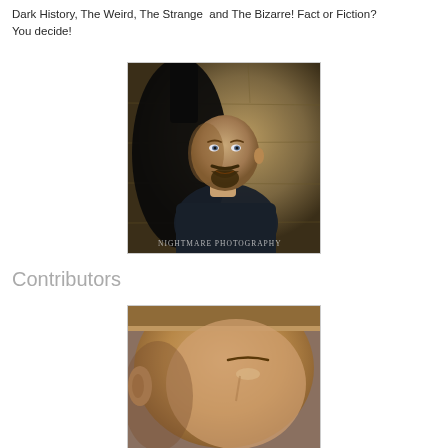Dark History, The Weird, The Strange and The Bizarre! Fact or Fiction? You decide!
[Figure (photo): Portrait photo of a bald man with a beard wearing a dark shirt, with a dramatic shadow on the wall behind him. Watermark reads: Nightmare Photography.]
Contributors
[Figure (photo): Close-up portrait photo of a person, partially cropped, showing face and ear area.]